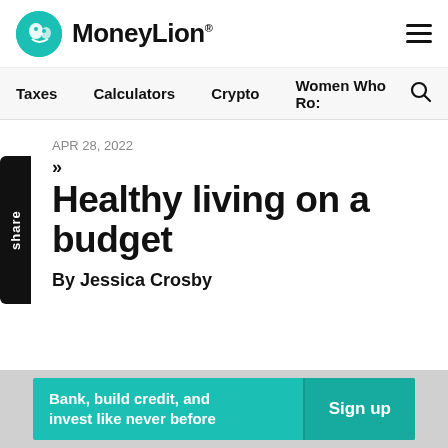MoneyLion
Taxes   Calculators   Crypto   Women Who Ro:
APR 28, 2022
Healthy living on a budget
By Jessica Crosby
Bank, build credit, and invest like never before   Sign up